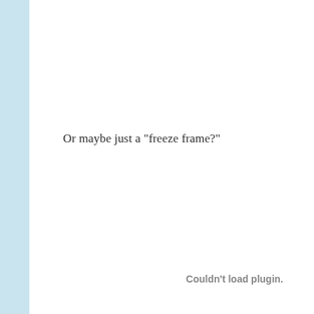Or maybe just a "freeze frame?"
Couldn't load plugin.